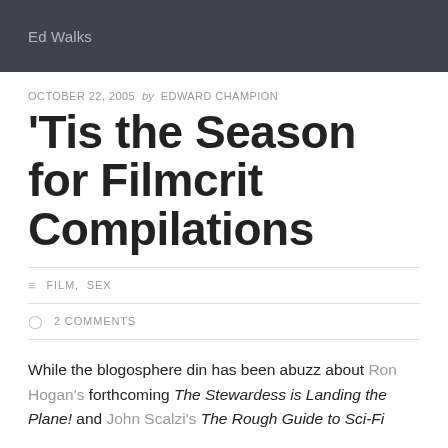Ed Walks
OCTOBER 22, 2005 by EDWARD CHAMPION
'Tis the Season for Filmcrit Compilations
FILM, SEX
2 COMMENTS
While the blogosphere din has been abuzz about Ron Hogan's forthcoming The Stewardess is Landing the Plane! and John Scalzi's The Rough Guide to Sci-Fi